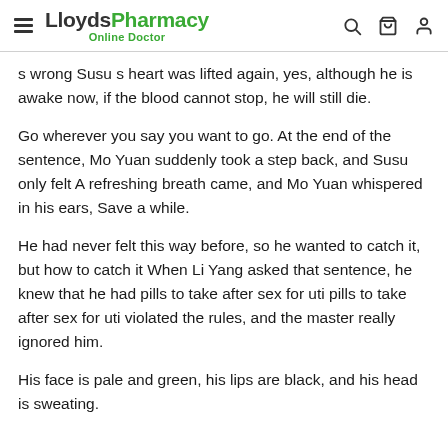LloydsPharmacy Online Doctor
s wrong Susu s heart was lifted again, yes, although he is awake now, if the blood cannot stop, he will still die.
Go wherever you say you want to go. At the end of the sentence, Mo Yuan suddenly took a step back, and Susu only felt A refreshing breath came, and Mo Yuan whispered in his ears, Save a while.
He had never felt this way before, so he wanted to catch it, but how to catch it When Li Yang asked that sentence, he knew that he had pills to take after sex for uti pills to take after sex for uti violated the rules, and the master really ignored him.
His face is pale and green, his lips are black, and his head is sweating.